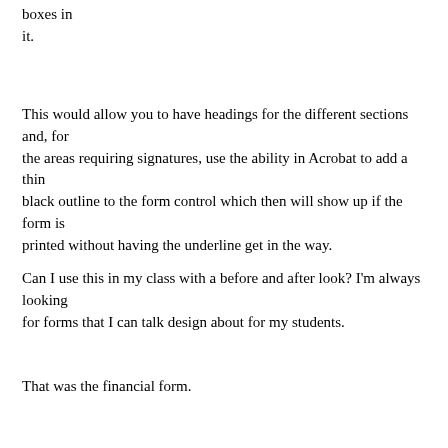boxes in it.
This would allow you to have headings for the different sections and, for the areas requiring signatures, use the ability in Acrobat to add a thin black outline to the form control which then will show up if the form is printed without having the underline get in the way.
Can I use this in my class with a before and after look? I'm always looking for forms that I can talk design about for my students.
That was the financial form.